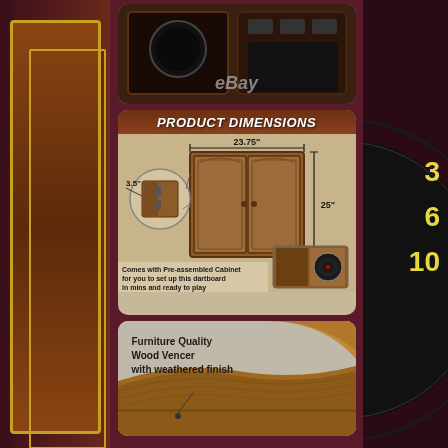[Figure (photo): Top product photo of a dartboard cabinet showing the interior/electronics, with eBay watermark overlay]
[Figure (infographic): Product dimensions diagram showing the dartboard cabinet with measurements: 23.75 inches wide, 25 inches tall, 3.5 inches deep. Includes zoom inset of corner detail and small inset photo of open cabinet. Title reads PRODUCT DIMENSIONS. Text: Comes with Pre-assembled Cabinet for you to set up this dartboard in mins and ready to play.]
[Figure (photo): Close-up photo of wood veneer corner with weathered finish. Text overlay: Furniture Quality Wood Veneer with weathered finish]